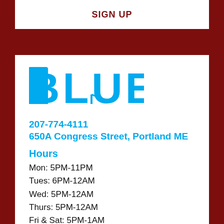SIGN UP
[Figure (logo): BLUE jazz venue logo in bold cyan/blue lettering with a musical note detail]
207-774-4111
650A Congress Street, Portland ME
Hours
Mon: 5PM-11PM
Tues: 6PM-12AM
Wed: 5PM-12AM
Thurs: 5PM-12AM
Fri & Sat: 5PM-1AM
Sun: 4PM-10PM
Blue has won Portland's Best Jazz Venue for